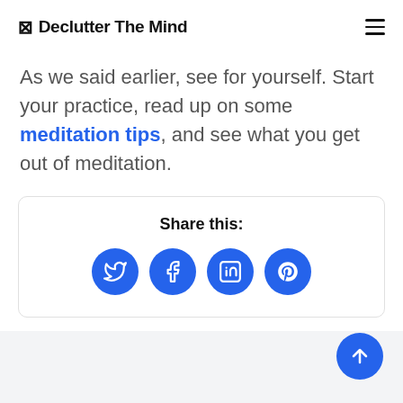⊠ Declutter The Mind
As we said earlier, see for yourself. Start your practice, read up on some meditation tips, and see what you get out of meditation.
Share this:
[Figure (infographic): Share buttons row with four blue circular icons: Twitter, Facebook, LinkedIn, Pinterest]
[Figure (infographic): Blue circular scroll-to-top button with upward arrow, positioned bottom right]